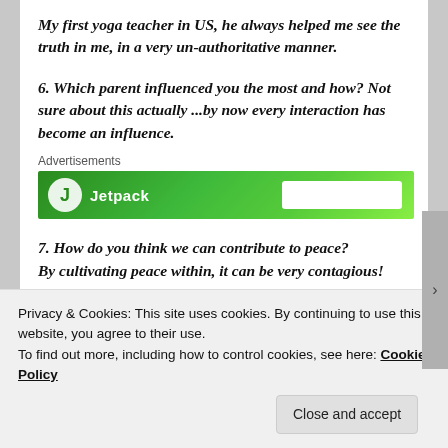My first yoga teacher in US, he always helped me see the truth in me, in a very un-authoritative manner.
6. Which parent influenced you the most and how? Not sure about this actually ...by now every interaction has become an influence.
[Figure (other): Advertisements banner - green Jetpack advertisement banner]
7. How do you think we can contribute to peace? By cultivating peace within, it can be very contagious!
Privacy & Cookies: This site uses cookies. By continuing to use this website, you agree to their use. To find out more, including how to control cookies, see here: Cookie Policy
Close and accept